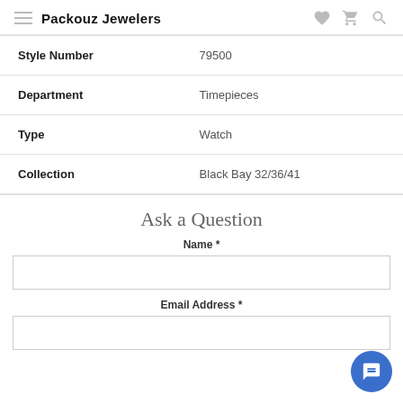Packouz Jewelers
| Attribute | Value |
| --- | --- |
| Style Number | 79500 |
| Department | Timepieces |
| Type | Watch |
| Collection | Black Bay 32/36/41 |
Ask a Question
Name *
Email Address *